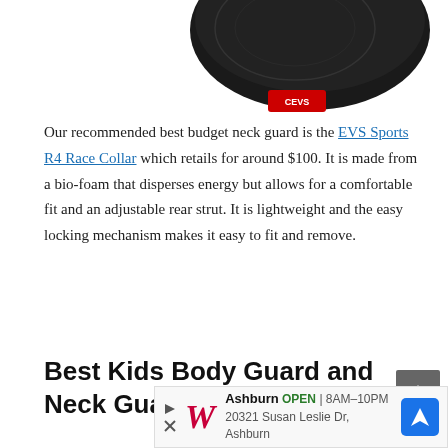[Figure (photo): Partial view of a black EVS Sports R4 Race Collar neck guard product with a red label visible at the bottom center]
Our recommended best budget neck guard is the EVS Sports R4 Race Collar which retails for around $100. It is made from a bio-foam that disperses energy but allows for a comfortable fit and an adjustable rear strut. It is lightweight and the easy locking mechanism makes it easy to fit and remove.
Best Kids Body Guard and Neck Guard
[Figure (other): Walgreens advertisement banner showing Ashburn location, OPEN 8AM-10PM, 20321 Susan Leslie Dr, Ashburn, with navigation icon]